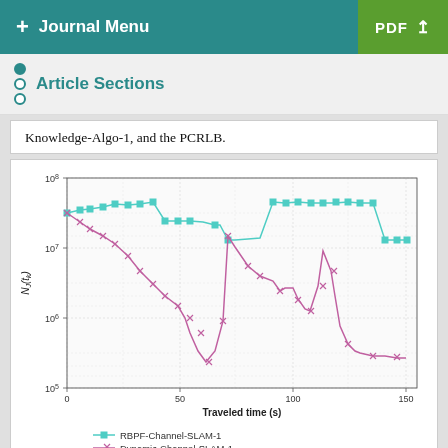+ Journal Menu  PDF ↓
Article Sections
Knowledge-Algo-1, and the PCRLB.
[Figure (continuous-plot): Semi-log line chart showing two series: RBPF-Channel-SLAM-1 (cyan/teal with square markers, stays around 10^7–10^8) and Dynamic-Channel-SLAM-1 (pink/magenta with star markers, decreasing from ~10^7 down to ~2×10^5) over traveled time 0 to 150 seconds. Y-axis is logarithmic from 10^5 to 10^8.]
Figure 11